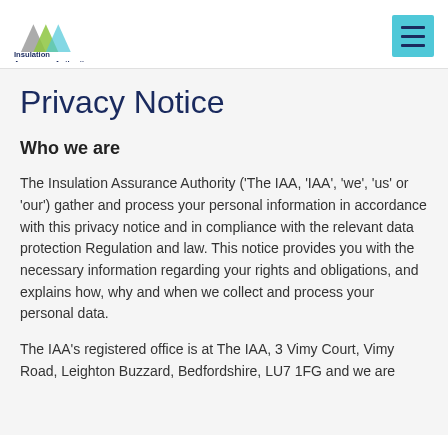Insulation Assurance Authority — Right first time
Privacy Notice
Who we are
The Insulation Assurance Authority ('The IAA, 'IAA', 'we', 'us' or 'our') gather and process your personal information in accordance with this privacy notice and in compliance with the relevant data protection Regulation and law. This notice provides you with the necessary information regarding your rights and obligations, and explains how, why and when we collect and process your personal data.
The IAA's registered office is at The IAA, 3 Vimy Court, Vimy Road, Leighton Buzzard, Bedfordshire, LU7 1FG and we are